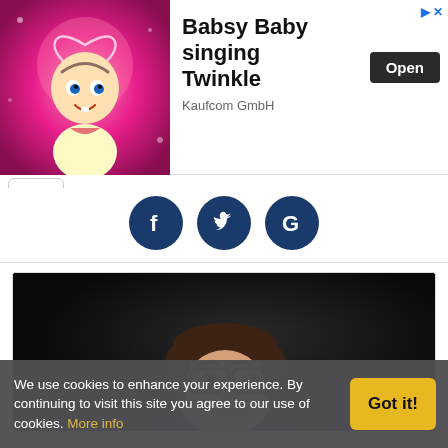[Figure (screenshot): Advertisement banner for 'Babsy Baby singing Twinkle' app by Kaufcom GmbH, showing a cartoon baby with halo on pink sparkly background, with an Open button and close X icon]
[Figure (other): Collapse/scroll up arrow button (chevron up) in a white rounded rectangle]
[Figure (other): Social media icon buttons: Facebook (f), Twitter (bird), Google (G) — dark navy blue circles]
[Figure (photo): Professional headshot photo of a middle-aged man with dark hair and glasses, smiling, dark background]
We use cookies to enhance your experience. By continuing to visit this site you agree to our use of cookies. More info